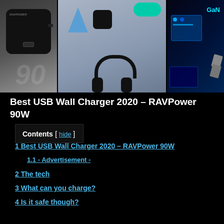[Figure (photo): Three-panel photo collage showing: left panel - RAVPower black USB wall charger on gray background with '90' visible; center panel - charger accessories including phone stand and headphones on blue-gray background; right panel - GaN chip/circuit board with cyan GaN label on dark blue background]
Best USB Wall Charger 2020 – RAVPower 90W
Contents [ hide ]
1 Best USB Wall Charger 2020 – RAVPower 90W
1.1 - Advertisement -
2  The tech
3  What can you charge?
4  Is it safe though?